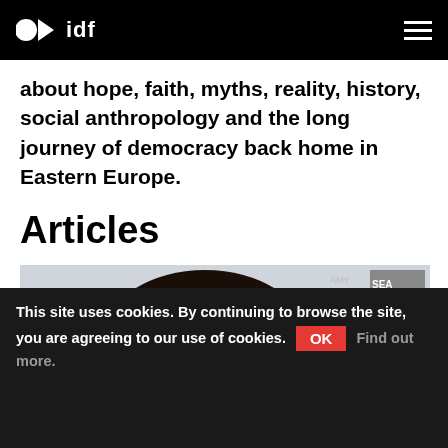idf
about hope, faith, myths, reality, history, social anthropology and the long journey of democracy back home in Eastern Europe.
Articles
[Figure (photo): Partial view of a person with dark hair, appears to be at an event with signage visible in the background]
This site uses cookies. By continuing to browse the site, you are agreeing to our use of cookies. OK Find out more.